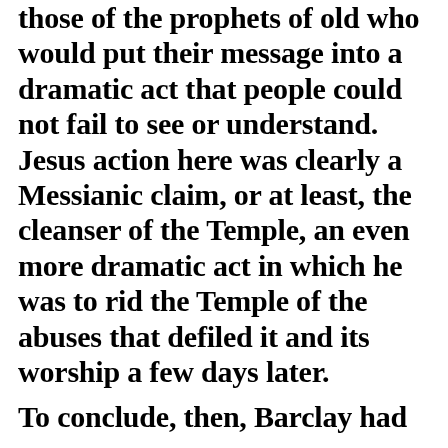those of the prophets of old who would put their message into a dramatic act that people could not fail to see or understand.  Jesus action here was clearly a Messianic claim, or at least, the cleanser of the Temple, an even more dramatic act in which he was to rid the Temple of the abuses that defiled it and its worship a few days later.

To conclude, then, Barclay had